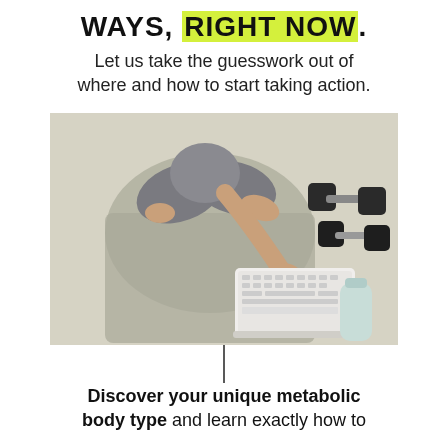WAYS, RIGHT NOW.
Let us take the guesswork out of where and how to start taking action.
[Figure (photo): Overhead view of a person sitting cross-legged on a yoga mat, typing on a white laptop keyboard. Nearby are two black dumbbells and a light blue water bottle on a light carpet.]
Discover your unique metabolic body type and learn exactly how to